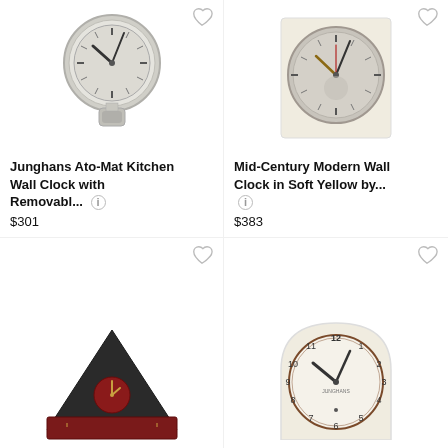[Figure (photo): Junghans Ato-Mat Kitchen Wall Clock with removable timer, silver/gray round clock with pendulum base]
Junghans Ato-Mat Kitchen Wall Clock with Removabl...
$301
[Figure (photo): Mid-Century Modern Wall Clock in Soft Yellow, round clock in cream/yellow box packaging]
Mid-Century Modern Wall Clock in Soft Yellow by...
$383
[Figure (photo): Triangular dark modernist desk clock with gold hands, dark red/black triangular body]
[Figure (photo): Vintage cream/white arched wall clock with numbered dial, Junghans brand]